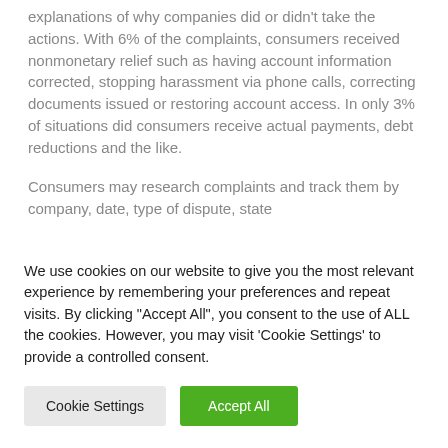explanations of why companies did or didn't take the actions. With 6% of the complaints, consumers received nonmonetary relief such as having account information corrected, stopping harassment via phone calls, correcting documents issued or restoring account access. In only 3% of situations did consumers receive actual payments, debt reductions and the like.
Consumers may research complaints and track them by company, date, type of dispute, state...
We use cookies on our website to give you the most relevant experience by remembering your preferences and repeat visits. By clicking "Accept All", you consent to the use of ALL the cookies. However, you may visit 'Cookie Settings' to provide a controlled consent.